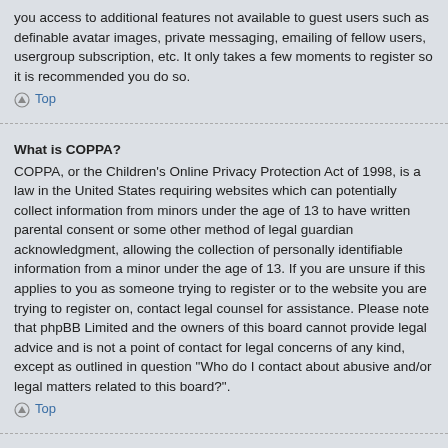you access to additional features not available to guest users such as definable avatar images, private messaging, emailing of fellow users, usergroup subscription, etc. It only takes a few moments to register so it is recommended you do so.
Top
What is COPPA?
COPPA, or the Children's Online Privacy Protection Act of 1998, is a law in the United States requiring websites which can potentially collect information from minors under the age of 13 to have written parental consent or some other method of legal guardian acknowledgment, allowing the collection of personally identifiable information from a minor under the age of 13. If you are unsure if this applies to you as someone trying to register or to the website you are trying to register on, contact legal counsel for assistance. Please note that phpBB Limited and the owners of this board cannot provide legal advice and is not a point of contact for legal concerns of any kind, except as outlined in question "Who do I contact about abusive and/or legal matters related to this board?".
Top
Why can't I register?
It is possible a board administrator has disabled registration to prevent new visitors from signing up. A board administrator could have also banned your IP address or disallowed the username you are attempting to register. Contact a board administrator for assistance.